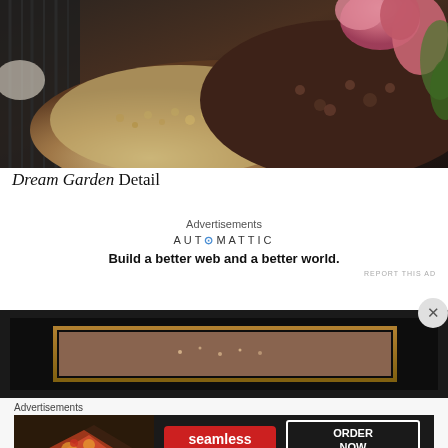[Figure (photo): Close-up detail of a bird with brown and cream feathers, with pink flowers in the upper right corner, part of an artwork called Dream Garden Detail]
Dream Garden Detail
Advertisements
AUTOMATTIC — Build a better web and a better world.
REPORT THIS AD
[Figure (photo): Framed painting shown in a dark frame with gold inner border, partially visible]
Advertisements
[Figure (screenshot): Seamless food ordering advertisement with pizza image on the left, seamless logo in red, and ORDER NOW button on the right]